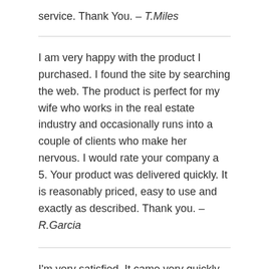service. Thank You. – T.Miles
I am very happy with the product I purchased. I found the site by searching the web. The product is perfect for my wife who works in the real estate industry and occasionally runs into a couple of clients who make her nervous. I would rate your company a 5. Your product was delivered quickly. It is reasonably priced, easy to use and exactly as described. Thank you. – R.Garcia
I'm very satisfied, It came very quickly too. Thanks again. – S.Nichols